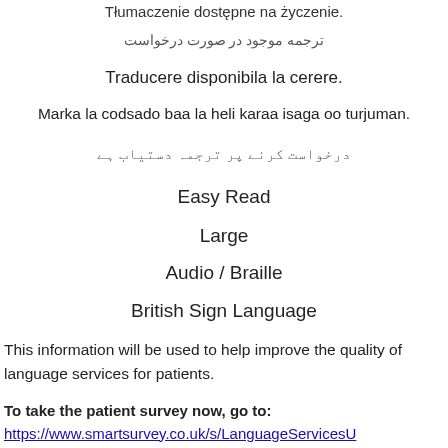Tłumaczenie dostępne na życzenie.
ترجمه موجود در صورت درخواست
Traducere disponibila la cerere.
Marka la codsado baa la heli karaa isaga oo turjuman.
درخواست کرنے پر ترجمہ دستیاب ہے
Easy Read
Large
Audio / Braille
British Sign Language
This information will be used to help improve the quality of language services for patients.
To take the patient survey now, go to: https://www.smartsurvey.co.uk/s/LanguageServicesU